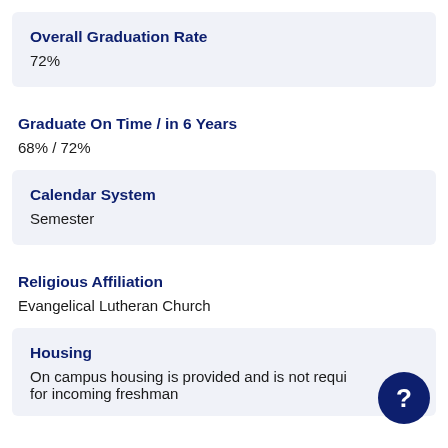Overall Graduation Rate
72%
Graduate On Time / in 6 Years
68% / 72%
Calendar System
Semester
Religious Affiliation
Evangelical Lutheran Church
Housing
On campus housing is provided and is not required for incoming freshman